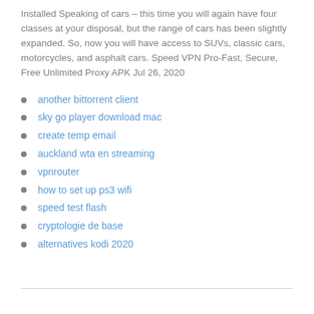Installed Speaking of cars – this time you will again have four classes at your disposal, but the range of cars has been slightly expanded. So, now you will have access to SUVs, classic cars, motorcycles, and asphalt cars. Speed VPN Pro-Fast, Secure, Free Unlimited Proxy APK Jul 26, 2020
another bittorrent client
sky go player download mac
create temp email
auckland wta en streaming
vpnrouter
how to set up ps3 wifi
speed test flash
cryptologie de base
alternatives kodi 2020